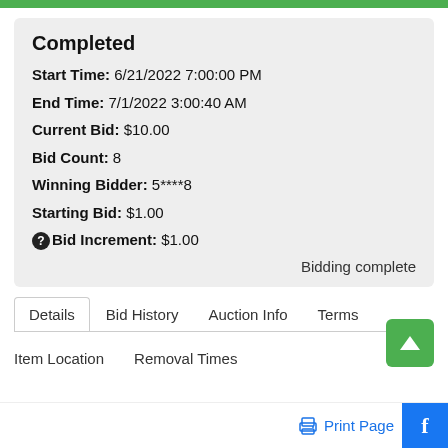Completed
Start Time: 6/21/2022 7:00:00 PM
End Time: 7/1/2022 3:00:40 AM
Current Bid: $10.00
Bid Count: 8
Winning Bidder: 5****8
Starting Bid: $1.00
Bid Increment: $1.00
Bidding complete
Details | Bid History | Auction Info | Terms
Item Location | Removal Times
Print Page